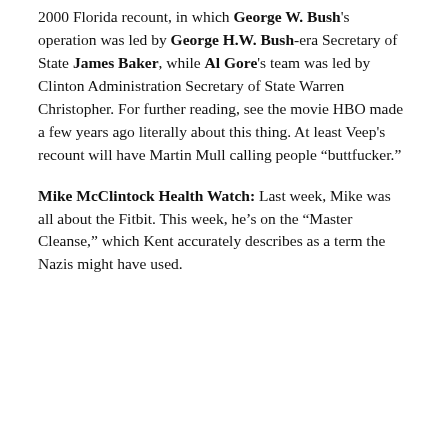2000 Florida recount, in which George W. Bush's operation was led by George H.W. Bush-era Secretary of State James Baker, while Al Gore's team was led by Clinton Administration Secretary of State Warren Christopher. For further reading, see the movie HBO made a few years ago literally about this thing. At least Veep's recount will have Martin Mull calling people “buttfucker.”
Mike McClintock Health Watch: Last week, Mike was all about the Fitbit. This week, he’s on the “Master Cleanse,” which Kent accurately describes as a term the Nazis might have used.